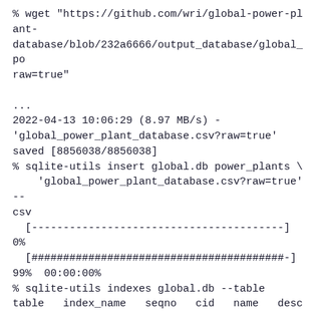% wget "https://github.com/wri/global-power-plant-database/blob/232a6666/output_database/global_po raw=true"
...
2022-04-13 10:06:29 (8.97 MB/s) - 'global_power_plant_database.csv?raw=true' saved [8856038/8856038]
% sqlite-utils insert global.db power_plants \
    'global_power_plant_database.csv?raw=true' --csv
  [----------------------------------------]   0%
  [########################################-] 99%  00:00:00%
% sqlite-utils indexes global.db --table
table   index_name   seqno   cid   name   desc   coll   key
------   ------------   ------   -----   ------   ------   ------   -----
% sqlite-utils extract global.db power_plants